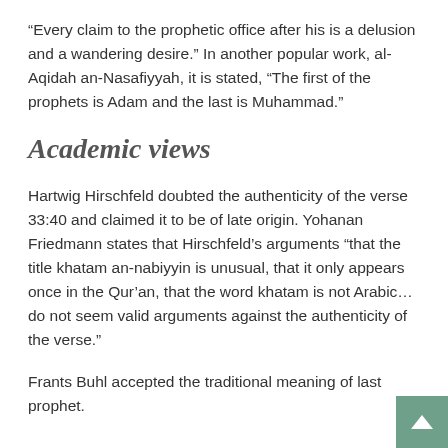“Every claim to the prophetic office after his is a delusion and a wandering desire.” In another popular work, al-Aqidah an-Nasafiyyah, it is stated, “The first of the prophets is Adam and the last is Muhammad.”
Academic views
Hartwig Hirschfeld doubted the authenticity of the verse 33:40 and claimed it to be of late origin. Yohanan Friedmann states that Hirschfeld’s arguments “that the title khatam an-nabiyyin is unusual, that it only appears once in the Qur’an, that the word khatam is not Arabic… do not seem valid arguments against the authenticity of the verse.”
Frants Buhl accepted the traditional meaning of last prophet.